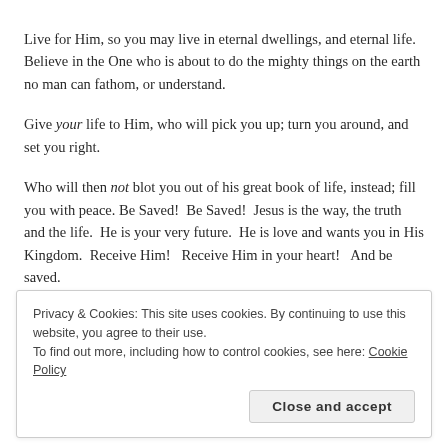Live for Him, so you may live in eternal dwellings, and eternal life. Believe in the One who is about to do the mighty things on the earth no man can fathom, or understand.
Give your life to Him, who will pick you up; turn you around, and set you right.
Who will then not blot you out of his great book of life, instead; fill you with peace. Be Saved!  Be Saved!  Jesus is the way, the truth and the life.  He is your very future.  He is love and wants you in His Kingdom.  Receive Him!   Receive Him in your heart!   And be saved.
Privacy & Cookies: This site uses cookies. By continuing to use this website, you agree to their use. To find out more, including how to control cookies, see here: Cookie Policy
Close and accept